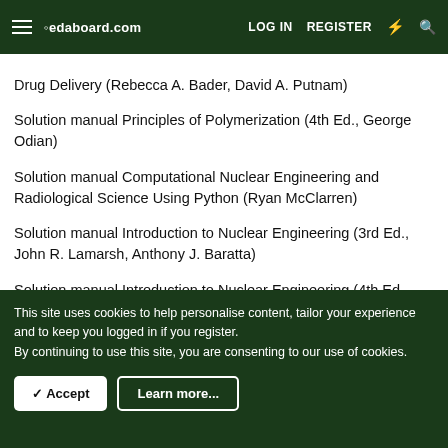edaboard.com  LOG IN  REGISTER
Drug Delivery (Rebecca A. Bader, David A. Putnam)
Solution manual Principles of Polymerization (4th Ed., George Odian)
Solution manual Computational Nuclear Engineering and Radiological Science Using Python (Ryan McClarren)
Solution manual Introduction to Nuclear Engineering (3rd Ed., John R. Lamarsh, Anthony J. Baratta)
Solution manual Introduction to Nuclear Engineering (4th Ed., John R. Lamarsh, Anthony J. Baratta)
Solution manual Fundamentals of Nuclear Reactor Physics (Elmer Lewis)
Solution Manual Fundamentals of Nuclear Engineering (Brent ...
This site uses cookies to help personalise content, tailor your experience and to keep you logged in if you register.
By continuing to use this site, you are consenting to our use of cookies.
Accept  Learn more...